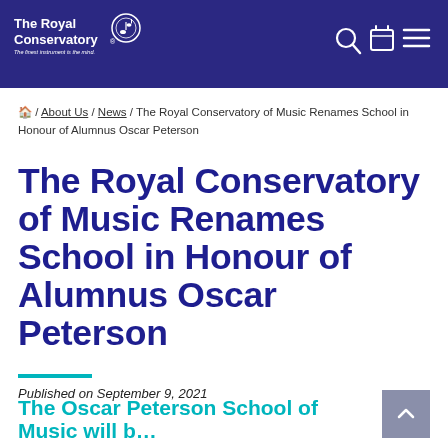The Royal Conservatory® — The finest instrument is the mind.
🏠 / About Us / News / The Royal Conservatory of Music Renames School in Honour of Alumnus Oscar Peterson
The Royal Conservatory of Music Renames School in Honour of Alumnus Oscar Peterson
Published on September 9, 2021
The Oscar Peterson School of Music will b…